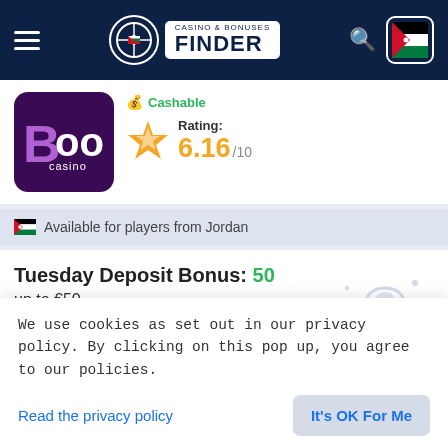Casino & Bonuses Finder
Cashable
Rating: 6.16/10
Available for players from Jordan
Tuesday Deposit Bonus: 50
up to €50
Boo Casino
€20 Min Dep
40x Wager
We use cookies as set out in our privacy policy. By clicking on this pop up, you agree to our policies.
Read the privacy policy
It's OK For Me